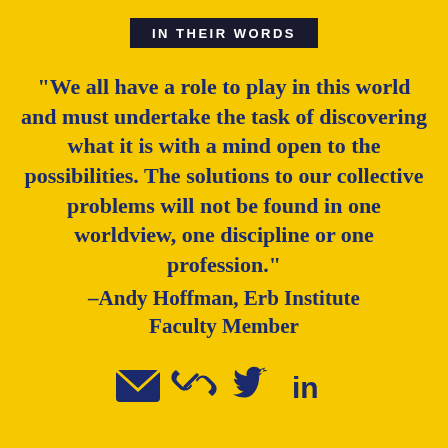IN THEIR WORDS
“We all have a role to play in this world and must undertake the task of discovering what it is with a mind open to the possibilities. The solutions to our collective problems will not be found in one worldview, one discipline or one profession.” –Andy Hoffman, Erb Institute Faculty Member
[Figure (infographic): Row of four social sharing icons: envelope (email), chain link, Twitter bird, LinkedIn 'in' logo, all in dark navy blue on yellow background]